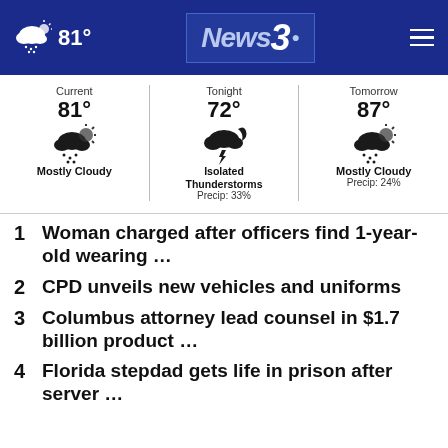81° News3
[Figure (infographic): Weather panel showing Current 81° Mostly Cloudy, Tonight 72° Isolated Thunderstorms Precip: 33%, Tomorrow 87° Mostly Cloudy Precip: 24%]
1  Woman charged after officers find 1-year-old wearing ...
2  CPD unveils new vehicles and uniforms
3  Columbus attorney lead counsel in $1.7 billion product ...
4  Florida stepdad gets life in prison after server ...